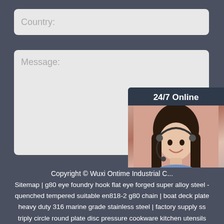Country:
Message:
Submit Now
[Figure (photo): Customer service representative with headset, 24/7 Online chat widget with 'Click here for free chat!' text and QUOTATION button]
Copyright © Wuxi Ontime Industrial C...
Sitemap | g80 eye foundry hook flat eye forged super alloy steel - quenched tempered suitable en818-2 g80 chain | boat deck plate heavy duty 316 marine grade stainless steel | factory supply ss triply circle round plate disc pressure cookware kitchen utensils